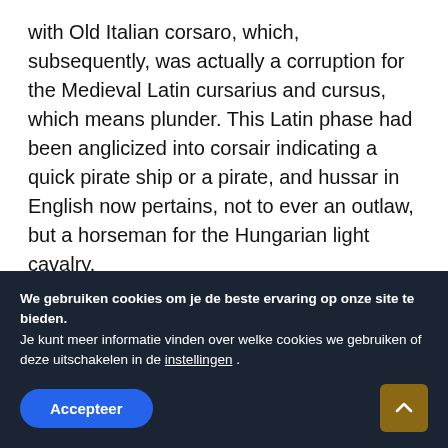with Old Italian corsaro, which, subsequently, was actually a corruption for the Medieval Latin cursarius and cursus, which means plunder. This Latin phase had been anglicized into corsair indicating a quick pirate ship or a pirate, and hussar in English now pertains, not to ever an outlaw, but a horseman for the Hungarian light cavalry.
The historical past on the hussars as an
We gebruiken cookies om je de beste ervaring op onze site te bieden.
Je kunt meer informatie vinden over welke cookies we gebruiken of deze uitschakelen in de instellingen .